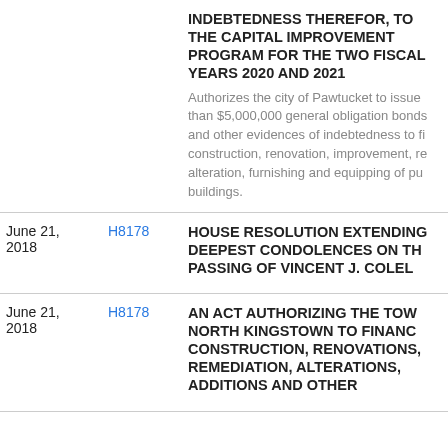| Date | ID | Content |
| --- | --- | --- |
|  |  | INDEBTEDNESS THEREFOR, TO THE CAPITAL IMPROVEMENT PROGRAM FOR THE TWO FISCAL YEARS 2020 AND 2021 | Authorizes the city of Pawtucket to issue than $5,000,000 general obligation bonds and other evidences of indebtedness to fi construction, renovation, improvement, re alteration, furnishing and equipping of pu buildings. |
| June 21, 2018 | H8178 | HOUSE RESOLUTION EXTENDING DEEPEST CONDOLENCES ON THE PASSING OF VINCENT J. COLELL |
| June 21, 2018 | H8178 | AN ACT AUTHORIZING THE TOWN NORTH KINGSTOWN TO FINANC CONSTRUCTION, RENOVATIONS, REMEDIATION, ALTERATIONS, ADDITIONS AND OTHER |